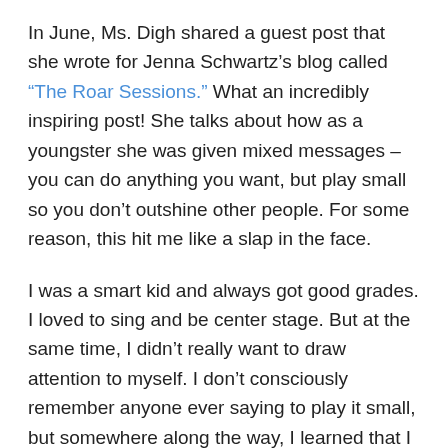In June, Ms. Digh shared a guest post that she wrote for Jenna Schwartz's blog called "The Roar Sessions." What an incredibly inspiring post! She talks about how as a youngster she was given mixed messages – you can do anything you want, but play small so you don't outshine other people. For some reason, this hit me like a slap in the face.
I was a smart kid and always got good grades. I loved to sing and be center stage. But at the same time, I didn't really want to draw attention to myself. I don't consciously remember anyone ever saying to play it small, but somewhere along the way, I learned that I should do just that. Don't put yourself out there, don't outshine. Reach for your dreams, but don't truly own them. Even after mulling this over for weeks, I can't pinpoint when this conflicting